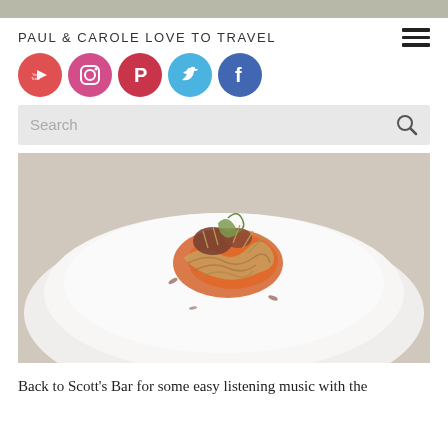PAUL & CAROLE LOVE TO TRAVEL
[Figure (other): Social media icons: YouTube (red), Instagram (pink), Pinterest (red/dark), Twitter (blue), Facebook (blue)]
[Figure (photo): A food dish on a white plate — appears to be an Asian noodle or pasta dish with sauce and garnishes, photographed from above.]
Back to Scott's Bar for some easy listening music with the